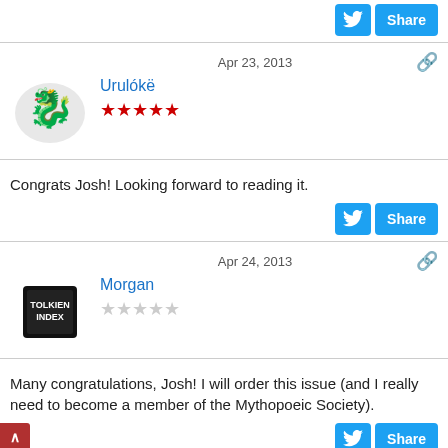[Figure (screenshot): Partial top area showing a Share button with Twitter icon]
Apr 23, 2013
[Figure (illustration): Dragon avatar for user Urulókë]
Urulókë
[Figure (other): 5 red stars rating]
Congrats Josh! Looking forward to reading it.
[Figure (screenshot): Twitter Share button]
Apr 24, 2013
[Figure (illustration): Book avatar for user Morgan (Tolkien Index)]
Morgan
[Figure (other): Gray stars rating (no stars filled)]
Many congratulations, Josh! I will order this issue (and I really need to become a member of the Mythopoeic Society).
[Figure (screenshot): Twitter Share button]
Apr 24, 2013
[Figure (illustration): Tolkien Society circular emblem avatar for user Khamûl]
Khamûl
[Figure (other): Gray stars rating (no stars filled)]